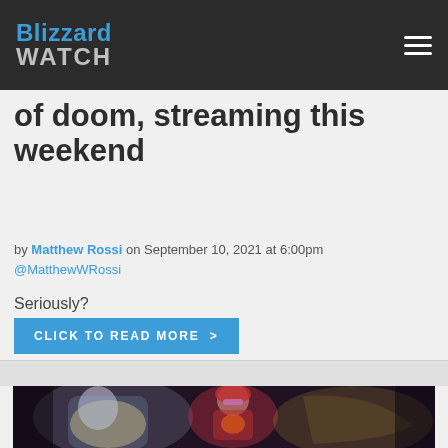Blizzard Watch
of doom, streaming this weekend
by Matthew Rossi on September 10, 2021 at 6:00pm
@MatthewWRossi
Seriously?
Click to read more >
[Figure (photo): Video game characters from World of Warcraft: a worgen/bear character on the left and a blood elf character in the center wearing sunglasses, on a dark dramatic background]